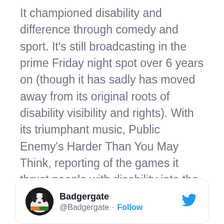It championed disability and difference through comedy and sport. It's still broadcasting in the prime Friday night spot over 6 years on (though it has sadly has moved away from its original roots of disability visibility and rights). With its triumphant music, Public Enemy's Harder Than You May Think, reporting of the games it thrust people with disability into the mainstream as Superhuman, the true X-men.
One of the show's prominent features is its hashtag #isitok and is used to ask is it ok that… type questions about current issues. In the beginning these were disability related such as.
[Figure (screenshot): Tweet card from @Badgergate with Follow button and Twitter bird logo]